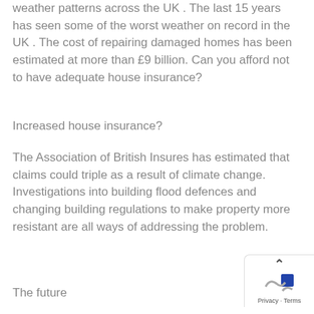weather patterns across the UK . The last 15 years has seen some of the worst weather on record in the UK . The cost of repairing damaged homes has been estimated at more than £9 billion. Can you afford not to have adequate house insurance?
Increased house insurance?
The Association of British Insures has estimated that claims could triple as a result of climate change. Investigations into building flood defences and changing building regulations to make property more resistant are all ways of addressing the problem.
The future